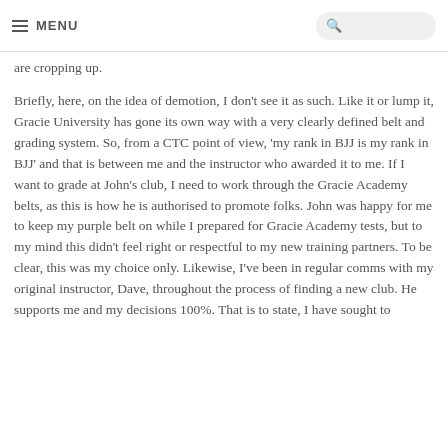MENU
are cropping up.
Briefly, here, on the idea of demotion, I don't see it as such. Like it or lump it, Gracie University has gone its own way with a very clearly defined belt and grading system. So, from a CTC point of view, 'my rank in BJJ is my rank in BJJ' and that is between me and the instructor who awarded it to me. If I want to grade at John's club, I need to work through the Gracie Academy belts, as this is how he is authorised to promote folks. John was happy for me to keep my purple belt on while I prepared for Gracie Academy tests, but to my mind this didn't feel right or respectful to my new training partners. To be clear, this was my choice only. Likewise, I've been in regular comms with my original instructor, Dave, throughout the process of finding a new club. He supports me and my decisions 100%. That is to state, I have sought to